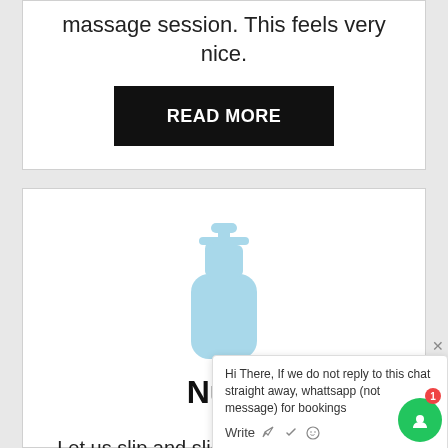massage session. This feels very nice.
READ MORE
[Figure (illustration): Light blue pump/lotion bottle icon]
Nuru
Let us slip and slide acorss your body for the ultimate nuru massage experience.
Hi There, If we do not reply to this chat straight away, whattsapp (not message) for bookings